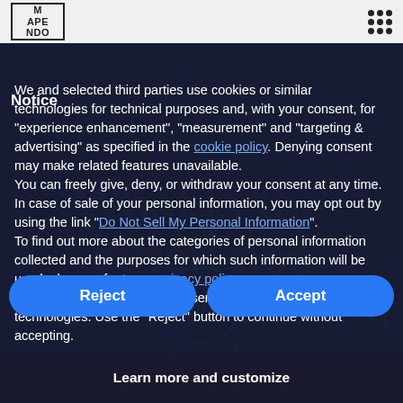M APE NDO (logo)
Notice
We and selected third parties use cookies or similar technologies for technical purposes and, with your consent, for "experience enhancement", "measurement" and "targeting & advertising" as specified in the cookie policy. Denying consent may make related features unavailable.
You can freely give, deny, or withdraw your consent at any time.
In case of sale of your personal information, you may opt out by using the link "Do Not Sell My Personal Information".
To find out more about the categories of personal information collected and the purposes for which such information will be used, please refer to our privacy policy.
Use the "Accept" button to consent to the use of such technologies. Use the "Reject" button to continue without accepting.
Reject
Accept
Learn more and customize